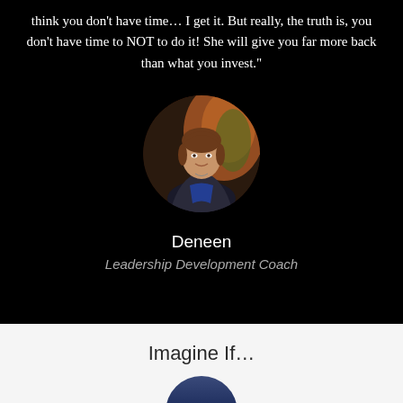think you don't have time… I get it. But really, the truth is, you don't have time to NOT to do it! She will give you far more back than what you invest."
[Figure (photo): Circular portrait photo of Deneen, a woman in a dark blazer and blue top, smiling, with a plant visible in the background.]
Deneen
Leadership Development Coach
Imagine If…
[Figure (photo): Partial circular avatar in dark blue color, cropped at bottom of page.]